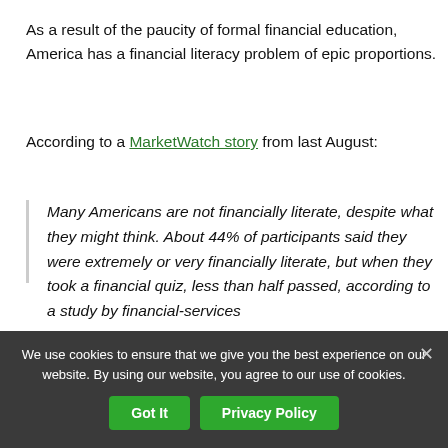As a result of the paucity of formal financial education, America has a financial literacy problem of epic proportions.
According to a MarketWatch story from last August:
Many Americans are not financially literate, despite what they might think. About 44% of participants said they were extremely or very financially literate, but when they took a financial quiz, less than half passed, according to a study by financial-services
We use cookies to ensure that we give you the best experience on our website. By using our website, you agree to our use of cookies.